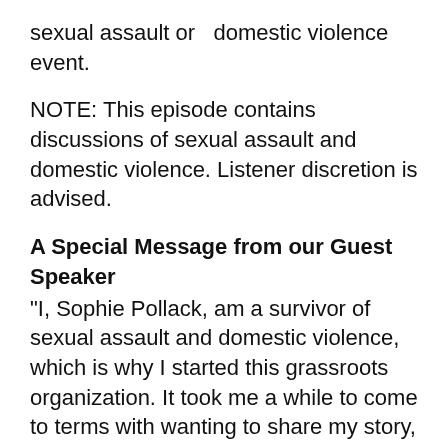sexual assault or  domestic violence event.
NOTE: This episode contains discussions of sexual assault and domestic violence. Listener discretion is advised.
A Special Message from our Guest Speaker
"I, Sophie Pollack, am a survivor of sexual assault and domestic violence, which is why I started this grassroots organization. It took me a while to come to terms with wanting to share my story, but I know it would benefit not only me but the survivor community as a whole. I am more than just a survivor. That is not solely who I am. Survivors are more than their past; they are individuals who take